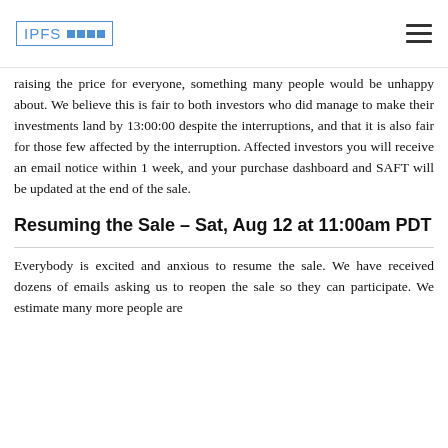IPFS [logo]
raising the price for everyone, something many people would be unhappy about. We believe this is fair to both investors who did manage to make their investments land by 13:00:00 despite the interruptions, and that it is also fair for those few affected by the interruption. Affected investors you will receive an email notice within 1 week, and your purchase dashboard and SAFT will be updated at the end of the sale.
Resuming the Sale – Sat, Aug 12 at 11:00am PDT
Everybody is excited and anxious to resume the sale. We have received dozens of emails asking us to reopen the sale so they can participate. We estimate many more people are